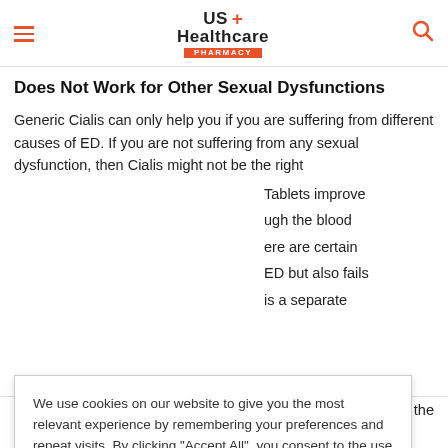US Healthcare Pharmacy
Does Not Work for Other Sexual Dysfunctions
Generic Cialis can only help you if you are suffering from different causes of ED. If you are not suffering from any sexual dysfunction, then Cialis might not be the right [medicine]. [T]ablets improve [blood flow th]ugh the blood [vessels. Th]ere are certain [conditions of] ED but also fails [and that] is a separate [condition.]
We use cookies on our website to give you the most relevant experience by remembering your preferences and repeat visits. By clicking "Accept All", you consent to the use of ALL the cookies. However, you may visit "Cookie Settings" to provide a controlled consent.
[allergic to the] contents of the pills. If you are taking nitrate medicine for